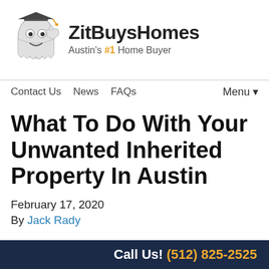[Figure (logo): ZitBuysHomes logo with cartoon ghost mascot and text 'ZitBuysHomes Austin's #1 Home Buyer']
Contact Us   News   FAQs   Menu▼
What To Do With Your Unwanted Inherited Property In Austin
February 17, 2020
By Jack Rady
A very popular item that is inherited and frequently unwanted is real estate property.
Call Us! (512) 825-2525